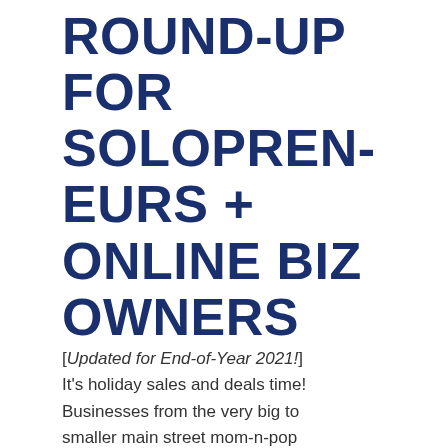ROUND-UP FOR SOLOPRENEURS + ONLINE BIZ OWNERS
[Updated for End-of-Year 2021!] It’s holiday sales and deals time! Businesses from the very big to smaller main street mom-n-pop stores have sales. And so do